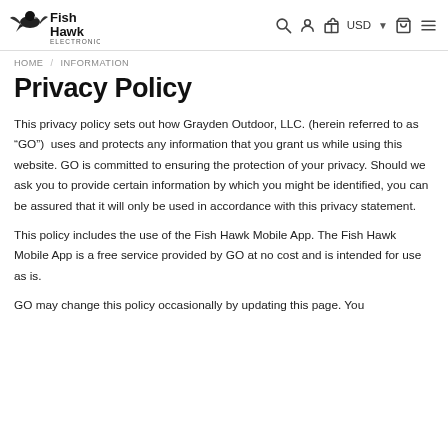FishHawk Electronics — HOME / INFORMATION — USD
Privacy Policy
This privacy policy sets out how Grayden Outdoor, LLC. (herein referred to as “GO”)  uses and protects any information that you grant us while using this website. GO is committed to ensuring the protection of your privacy. Should we ask you to provide certain information by which you might be identified, you can be assured that it will only be used in accordance with this privacy statement.
This policy includes the use of the Fish Hawk Mobile App. The Fish Hawk Mobile App is a free service provided by GO at no cost and is intended for use as is.
GO may change this policy occasionally by updating this page. You